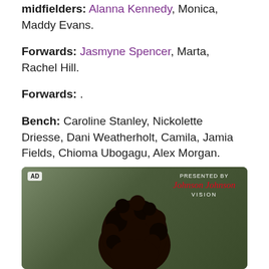midfielders: Alanna Kennedy, Monica, Maddy Evans.
Forwards: Jasmyne Spencer, Marta, Rachel Hill.
Forwards: .
Bench: Caroline Stanley, Nickolette Driesse, Dani Weatherholt, Camila, Jamia Fields, Chioma Ubogagu, Alex Morgan.
Chicago Red Stars (4-3-3)
Goalkeeper: Alyssa Naeher.
[Figure (photo): Advertisement photo showing a person with curly dark hair, presented by Johnson & Johnson Vision]